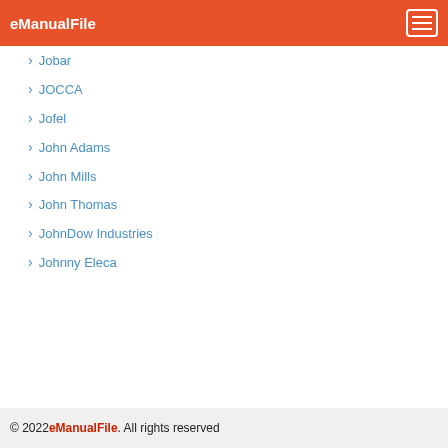eManualFile
Jobar
JOCCA
Jofel
John Adams
John Mills
John Thomas
JohnDow Industries
Johnny Eleca
| A | B | C | D | E | F | G | H | I | J | K | L | M |
| N | O | P | Q | R | S | T | U | V | W | X | Y |  |
| Z |  |  |  |  |  |  |  |  |  |  |  |  |
© 2022 eManualFile. All rights reserved